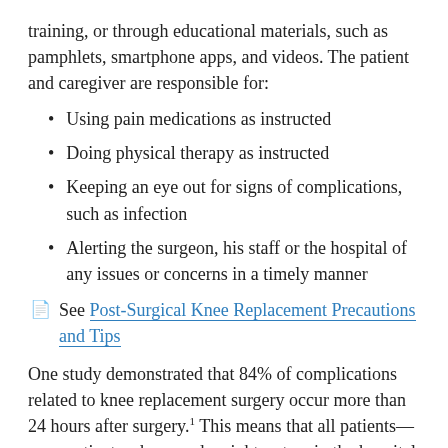training, or through educational materials, such as pamphlets, smartphone apps, and videos. The patient and caregiver are responsible for:
Using pain medications as instructed
Doing physical therapy as instructed
Keeping an eye out for signs of complications, such as infection
Alerting the surgeon, his staff or the hospital of any issues or concerns in a timely manner
See Post-Surgical Knee Replacement Precautions and Tips
One study demonstrated that 84% of complications related to knee replacement surgery occur more than 24 hours after surgery.1 This means that all patients—even patients who spend a night or two in the hospital—should